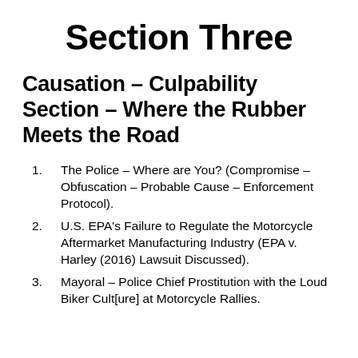Section Three
Causation – Culpability Section – Where the Rubber Meets the Road
The Police – Where are You? (Compromise – Obfuscation – Probable Cause – Enforcement Protocol).
U.S. EPA's Failure to Regulate the Motorcycle Aftermarket Manufacturing Industry (EPA v. Harley (2016) Lawsuit Discussed).
Mayoral – Police Chief Prostitution with the Loud Biker Cult[ure] at Motorcycle Rallies.